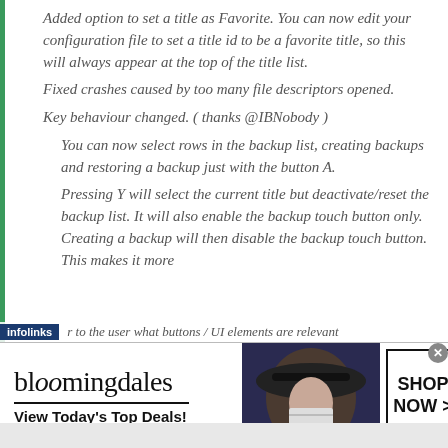Added option to set a title as Favorite. You can now edit your configuration file to set a title id to be a favorite title, so this will always appear at the top of the title list.
Fixed crashes caused by too many file descriptors opened.
Key behaviour changed. ( thanks @IBNobody )
You can now select rows in the backup list, creating backups and restoring a backup just with the button A.
Pressing Y will select the current title but deactivate/reset the backup list. It will also enable the backup touch button only. Creating a backup will then disable the backup touch button. This makes it more
r to the user what buttons / UI elements are relevant
[Figure (screenshot): Bloomingdale's advertisement banner: logo with 'bloomingdales', tagline 'View Today's Top Deals!', image of woman in hat, and 'SHOP NOW >' button. Infolinks bar overlay at top left.]